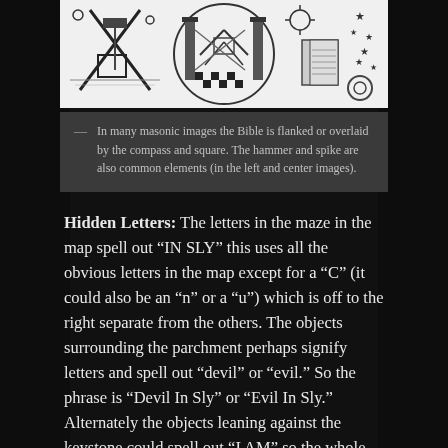[Figure (illustration): Three masonic/Freemasonry black and white illustrations: left shows compass, square, and tools; center shows pillars with masonic symbols on a checkered floor; right shows a book (Bible) with stars and sun symbols.]
In many masonic images the Bible is flanked or overlaid by the compass and square. The hammer and spike are also common elements (in the left and center images).
Hidden Letters: The letters in the maze in the map spell out “IN SLY” this uses all the obvious letters in the map except for a “C” (it could also be an “n” or a “u”) which is off to the right separate from the others. The objects surrounding the parchment perhaps signify letters and spell out “devil” or “evil.” So the phrase is “Devil In Sly” or “Evil In Sly.” Alternately the objects leaning against the keystone could spell out “I AM” so the whole phrase reads “I am in sly.” Or the “C” could be taken as “see” so it reads “See In Sly.”